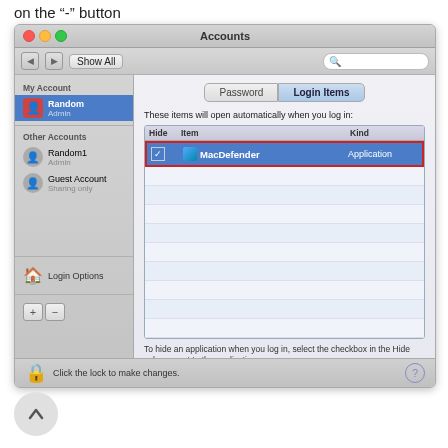on the "-" button
[Figure (screenshot): macOS Accounts preferences window showing Login Items tab with MacDefender listed as an Application. The MacDefender row is highlighted in blue with a red border outline. The "-" button at the bottom is also highlighted with a red border. The window shows sidebar with Random (Admin) selected, Random1 (Admin), and Guest Account (Sharing only) under Other Accounts, plus Login Options.]
[Figure (other): A circular back/up arrow button (chevron up icon) on a light gray rounded background, positioned in the lower left area of the page.]